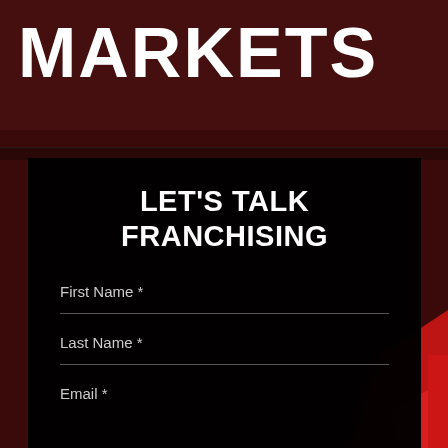MARKETS
LET'S TALK FRANCHISING
First Name *
Last Name *
Email *